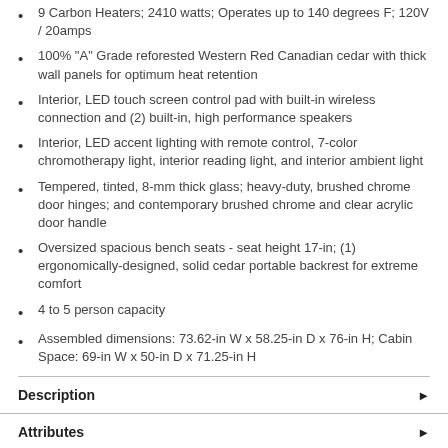9 Carbon Heaters; 2410 watts; Operates up to 140 degrees F; 120V / 20amps
100% "A" Grade reforested Western Red Canadian cedar with thick wall panels for optimum heat retention
Interior, LED touch screen control pad with built-in wireless connection and (2) built-in, high performance speakers
Interior, LED accent lighting with remote control, 7-color chromotherapy light, interior reading light, and interior ambient light
Tempered, tinted, 8-mm thick glass; heavy-duty, brushed chrome door hinges; and contemporary brushed chrome and clear acrylic door handle
Oversized spacious bench seats - seat height 17-in; (1) ergonomically-designed, solid cedar portable backrest for extreme comfort
4 to 5 person capacity
Assembled dimensions: 73.62-in W x 58.25-in D x 76-in H; Cabin Space: 69-in W x 50-in D x 71.25-in H
Description
Attributes
Manuals & Warranty
Recently Viewed